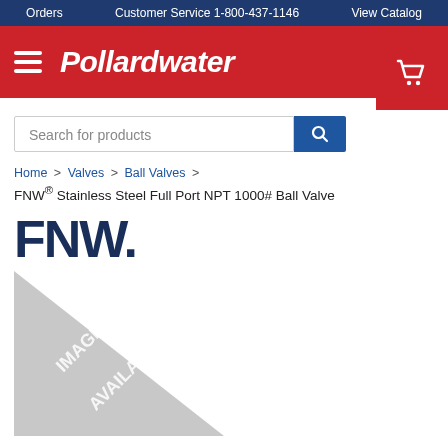Orders   Customer Service 1-800-437-1146   View Catalog
[Figure (logo): Pollardwater logo with hamburger menu icon on red background]
[Figure (other): Shopping cart icon on red background]
Search for products
Home > Valves > Ball Valves >
FNW® Stainless Steel Full Port NPT 1000# Ball Valve
[Figure (logo): FNW brand logo in dark navy blue bold text]
[Figure (other): Image not available placeholder - grey triangle with text IMAGE NOT AVAILABLE]